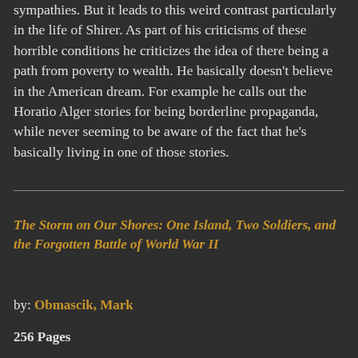sympathies. But it leads to this weird contrast particularly in the life of Shirer. As part of his criticisms of these horrible conditions he criticizes the idea of there being a path from poverty to wealth. He basically doesn't believe in the American dream. For example he calls out the Horatio Alger stories for being borderline propaganda, while never seeming to be aware of the fact that he's basically living in one of those stories.
The Storm on Our Shores: One Island, Two Soldiers, and the Forgotten Battle of World War II
by: Obmascik, Mark
256 Pages